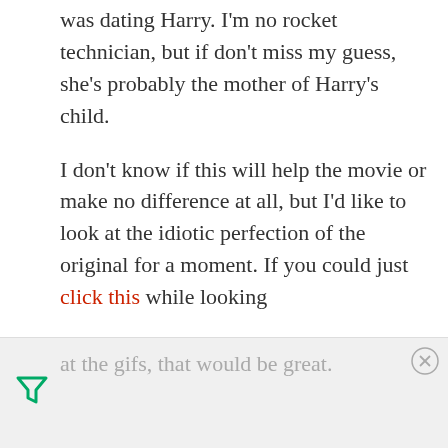was dating Harry. I'm no rocket technician, but if don't miss my guess, she's probably the mother of Harry's child.
I don't know if this will help the movie or make no difference at all, but I'd like to look at the idiotic perfection of the original for a moment. If you could just click this while looking at the gifs, that would be great.